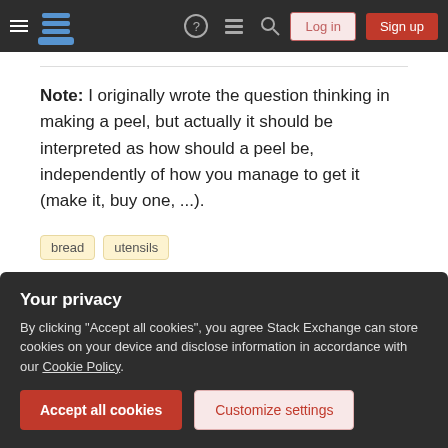Stack Exchange navigation bar with Log in and Sign up buttons
Note: I originally wrote the question thinking in making a peel, but actually it should be interpreted as how should a peel be, independently of how you manage to get it (make it, buy one, ...).
bread
utensils
Share   Improve this question
edited Mar 9, 2017 at 17:30   Community Bot
Your privacy
By clicking "Accept all cookies", you agree Stack Exchange can store cookies on your device and disclose information in accordance with our Cookie Policy.
Accept all cookies   Customize settings